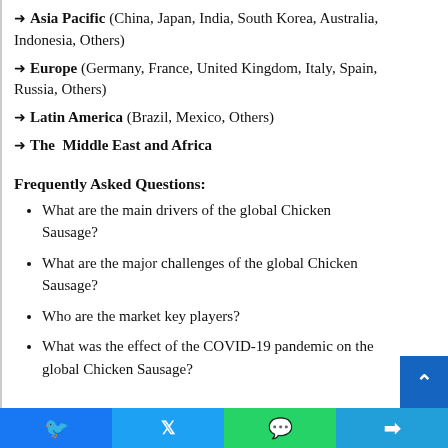➜ Asia Pacific (China, Japan, India, South Korea, Australia, Indonesia, Others)
➜ Europe (Germany, France, United Kingdom, Italy, Spain, Russia, Others)
➜ Latin America (Brazil, Mexico, Others)
➜ The Middle East and Africa
Frequently Asked Questions:
What are the main drivers of the global Chicken Sausage?
What are the major challenges of the global Chicken Sausage?
Who are the market key players?
What was the effect of the COVID-19 pandemic on the global Chicken Sausage?